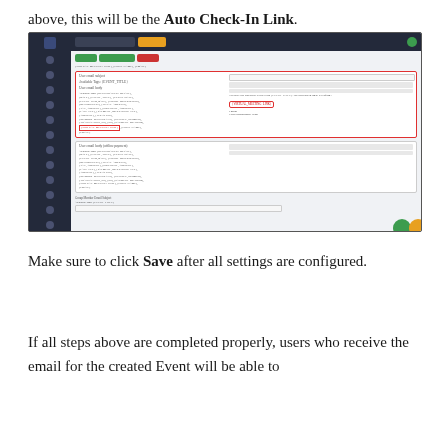above, this will be the Auto Check-In Link.
[Figure (screenshot): Screenshot of an event management admin interface showing email template configuration with VIRTUAL_MEETING_LINK tags highlighted in red boxes, and a VIRTUAL_MEETING_LINK button highlighted in the email body editor.]
Make sure to click Save after all settings are configured.
If all steps above are completed properly, users who receive the email for the created Event will be able to